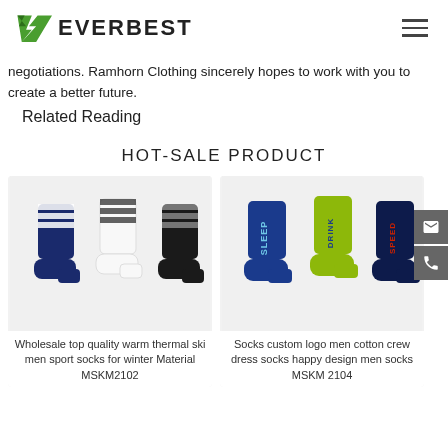EVERBEST
negotiations. Ramhorn Clothing sincerely hopes to work with you to create a better future.
Related Reading
HOT-SALE PRODUCT
[Figure (photo): Three pairs of striped men's sport socks in navy, white, and black]
Wholesale top quality warm thermal ski men sport socks for winter Material MSKM2102
[Figure (photo): Three colorful men's cotton crew socks with text logos SLEEP, DRINK, SPEED in blue, green, navy]
Socks custom logo men cotton crew dress socks happy design men socks MSKM 2104